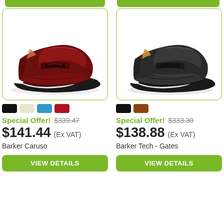[Figure (photo): Burgundy/oxblood Barker Caruso penny loafer shoe on white background]
[Figure (photo): Black Barker Tech Gates penny loafer shoe on white background]
Special Offer! $339.47
$141.44 (Ex VAT)
Barker Caruso
Special Offer! $333.30
$138.88 (Ex VAT)
Barker Tech - Gates
View Details
View Details